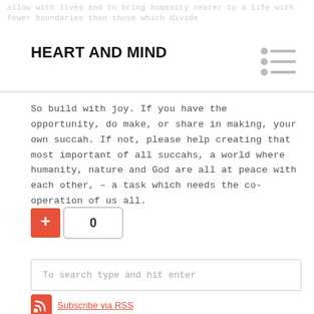HEART AND MIND
So build with joy. If you have the opportunity, do make, or share in making, your own succah. If not, please help creating that most important of all succahs, a world where humanity, nature and God are all at peace with each other, – a task which needs the co-operation of us all.
[Figure (other): Like/vote button showing a red plus button and a count of 0]
To search type and hit enter
Subscribe via RSS